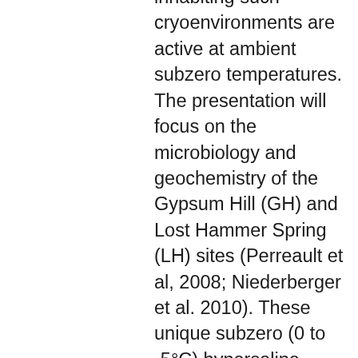inhabiting such cryoenvironments are active at ambient subzero temperatures. The presentation will focus on the microbiology and geochemistry of the Gypsum Hill (GH) and Lost Hammer Spring (LH) sites (Perreault et al, 2008; Niederberger et al. 2010). These unique subzero (0 to -5°C) hypersaline springs (7.5 to 23% salinity) are characterized by thick extensive permafrost in an